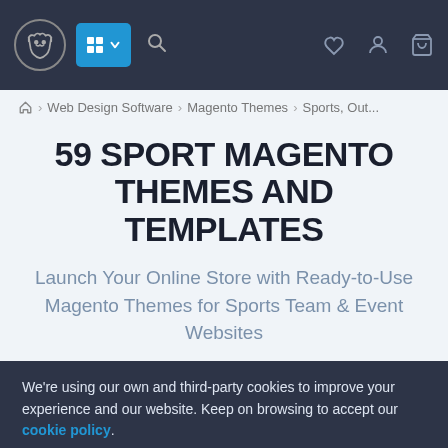[Figure (screenshot): Website navigation bar with logo (cat/monster icon), grid menu button, search icon, wishlist heart, account, and cart icons on dark navy background]
⌂ > Web Design Software > Magento Themes > Sports, Out...
59 SPORT MAGENTO THEMES AND TEMPLATES
Launch Your Online Store with Ready-to-Use Magento Themes for Sports Team & Event Websites
We're using our own and third-party cookies to improve your experience and our website. Keep on browsing to accept our cookie policy.
Accept
FILTERS
SORTING
APPLIED FILTERS: